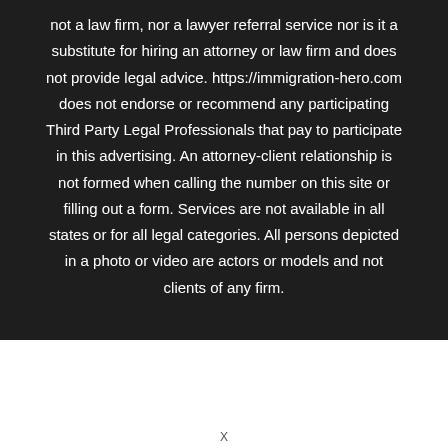not a law firm, nor a lawyer referral service nor is it a substitute for hiring an attorney or law firm and does not provide legal advice. https://immigration-hero.com does not endorse or recommend any participating Third Party Legal Professionals that pay to participate in this advertising. An attorney-client relationship is not formed when calling the number on this site or filling out a form. Services are not available in all states or for all legal categories. All persons depicted in a photo or video are actors or models and not clients of any firm.
X